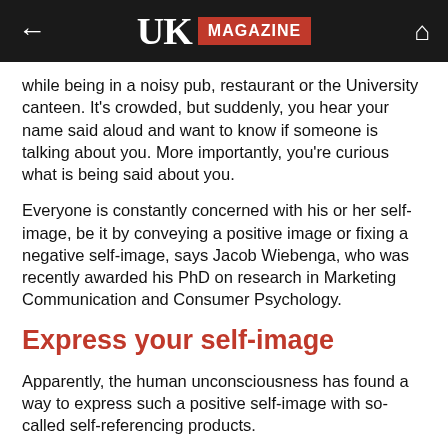UK MAGAZINE
while being in a noisy pub, restaurant or the University canteen. It's crowded, but suddenly, you hear your name said aloud and want to know if someone is talking about you. More importantly, you're curious what is being said about you.
Everyone is constantly concerned with his or her self-image, be it by conveying a positive image or fixing a negative self-image, says Jacob Wiebenga, who was recently awarded his PhD on research in Marketing Communication and Consumer Psychology.
Express your self-image
Apparently, the human unconsciousness has found a way to express such a positive self-image with so-called self-referencing products.
Wiebenga's research Implicit self-regulation in consumer goal pursuit was done within the Marketing program of the Economics and Business Faculty of the